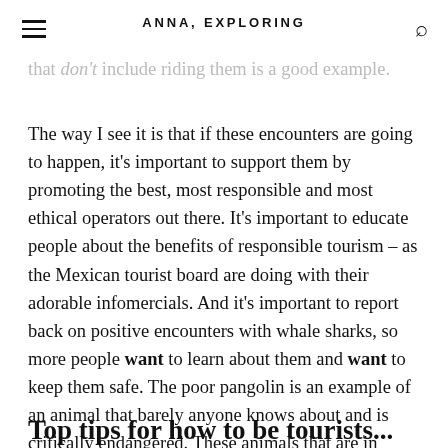ANNA, EXPLORING
that don't include riding them is a good example.
The way I see it is that if these encounters are going to happen, it's important to support them by promoting the best, most responsible and most ethical operators out there. It's important to educate people about the benefits of responsible tourism – as the Mexican tourist board are doing with their adorable infomercials. And it's important to report back on positive encounters with whale sharks, so more people want to learn about them and want to keep them safe. The poor pangolin is an example of an animal that barely anyone knows about and is critically endangered. These animals that are in danger are in need of some positive PR!
Top tips for how to be tourists...